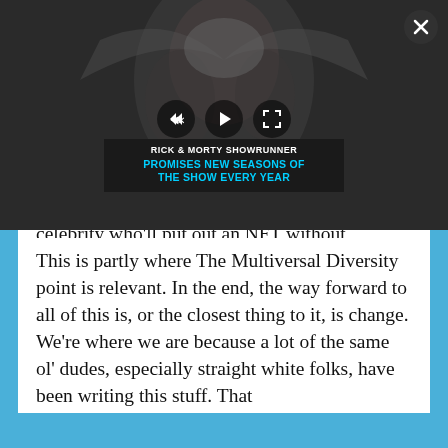[Figure (screenshot): Video player overlay showing animated characters in background (Rick and Morty style), with playback controls (mute, play, fullscreen), a close X button, and a banner reading 'RICK & MORTY SHOWRUNNER PROMISES NEW SEASONS OF THE SHOW EVERY YEAR']
Corporate H... ...less cycles, alm... ...ugh Tabloid-esque... ...ow celebrity ga... ...ht as well be the Kardashians and every other celebrity who'll put out an NFT without hesitation. This isn't a useful vision of the superhero. This is about what we pass on to the next generation, and the superheroes as they largely are, your Batmans and Supermans, this is the world they leave behind and pass on. And boy is it a shitty world.
This is partly where The Multiversal Diversity point is relevant. In the end, the way forward to all of this is, or the closest thing to it, is change. We're where we are because a lot of the same ol' dudes, especially straight white folks, have been writing this stuff. That